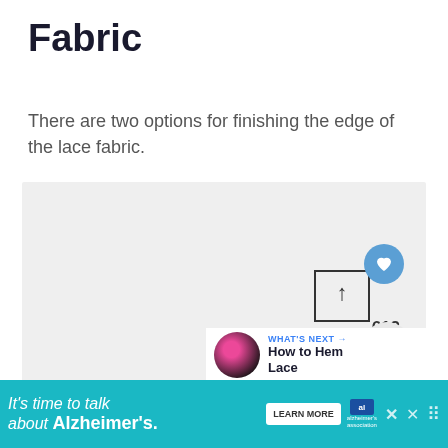Fabric
There are two options for finishing the edge of the lace fabric.
[Figure (photo): Large light gray image area showing fabric content, with a save/share UI overlay including a heart icon button with count 612 and a share button]
WHAT'S NEXT → How to Hem Lace
It's time to talk about Alzheimer's. LEARN MORE